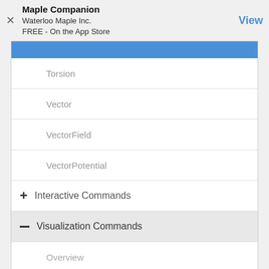Maple Companion
Waterloo Maple Inc.
FREE - On the App Store
Torsion
Vector
VectorField
VectorPotential
+ Interactive Commands
- Visualization Commands
Overview
Binormal
FlowLine